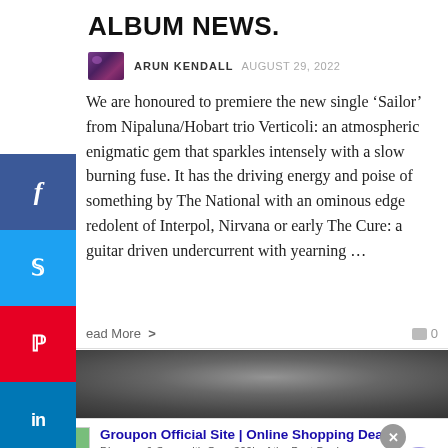ALBUM NEWS.
ARUN KENDALL  AUGUST 29, 2022
We are honoured to premiere the new single ‘Sailor’ from Nipaluna/Hobart trio Verticoli: an atmospheric enigmatic gem that sparkles intensely with a slow burning fuse. It has the driving energy and poise of something by The National with an ominous edge redolent of Interpol, Nirvana or early The Cure: a guitar driven undercurrent with yearning ...
Read More >   ▬ 0
[Figure (screenshot): infolinks advertisement banner with moon surface background image]
[Figure (screenshot): Groupon advertisement: Groupon Official Site | Online Shopping Deals. Discover & Save with Over 300k of the Best Deals. www.groupon.com]